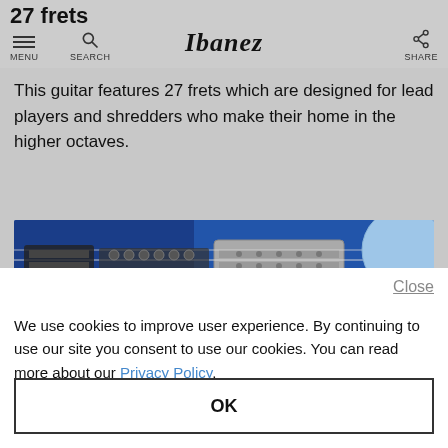27 frets | MENU | SEARCH | Ibanez | SHARE
27 frets
This guitar features 27 frets which are designed for lead players and shredders who make their home in the higher octaves.
[Figure (photo): Close-up photo of an electric guitar bridge and strings on a blue guitar body]
Close
We use cookies to improve user experience. By continuing to use our site you consent to use our cookies. You can read more about our Privacy Policy.
OK